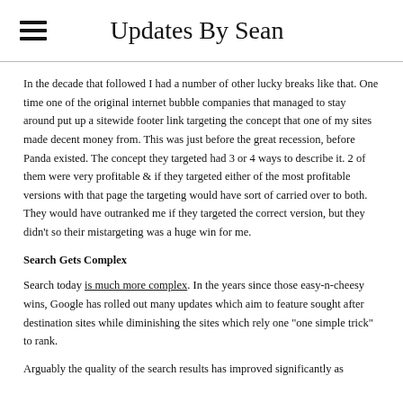Updates By Sean
In the decade that followed I had a number of other lucky breaks like that. One time one of the original internet bubble companies that managed to stay around put up a sitewide footer link targeting the concept that one of my sites made decent money from. This was just before the great recession, before Panda existed. The concept they targeted had 3 or 4 ways to describe it. 2 of them were very profitable & if they targeted either of the most profitable versions with that page the targeting would have sort of carried over to both. They would have outranked me if they targeted the correct version, but they didn't so their mistargeting was a huge win for me.
Search Gets Complex
Search today is much more complex. In the years since those easy-n-cheesy wins, Google has rolled out many updates which aim to feature sought after destination sites while diminishing the sites which rely one "one simple trick" to rank.
Arguably the quality of the search results has improved significantly as